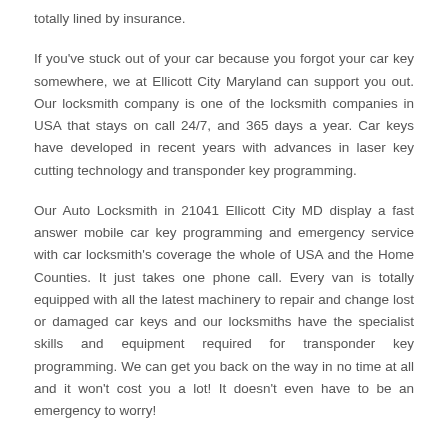totally lined by insurance.
If you've stuck out of your car because you forgot your car key somewhere, we at Ellicott City Maryland can support you out. Our locksmith company is one of the locksmith companies in USA that stays on call 24/7, and 365 days a year. Car keys have developed in recent years with advances in laser key cutting technology and transponder key programming.
Our Auto Locksmith in 21041 Ellicott City MD display a fast answer mobile car key programming and emergency service with car locksmith's coverage the whole of USA and the Home Counties. It just takes one phone call. Every van is totally equipped with all the latest machinery to repair and change lost or damaged car keys and our locksmiths have the specialist skills and equipment required for transponder key programming. We can get you back on the way in no time at all and it won't cost you a lot! It doesn't even have to be an emergency to worry!
EMERGENCY AUTO